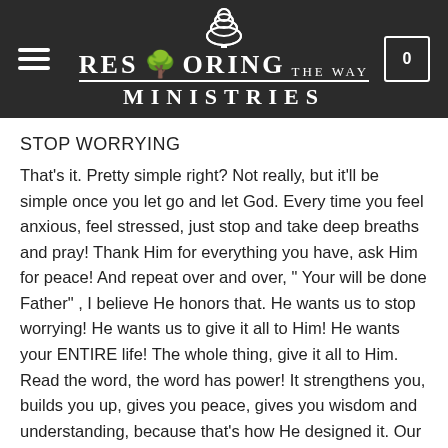Restoring The Way Ministries
STOP WORRYING
That's it. Pretty simple right? Not really, but it'll be simple once you let go and let God. Every time you feel anxious, feel stressed, just stop and take deep breaths and pray! Thank Him for everything you have, ask Him for peace! And repeat over and over, " Your will be done Father" , I believe He honors that. He wants us to stop worrying! He wants us to give it all to Him! He wants your ENTIRE life! The whole thing, give it all to Him. Read the word, the word has power! It strengthens you, builds you up, gives you peace, gives you wisdom and understanding, because that's how He designed it. Our God is strong and mighty! He knows you, everything about you that people know and don't know, He knows, and He already knew you would be who you are! Crazy right? He